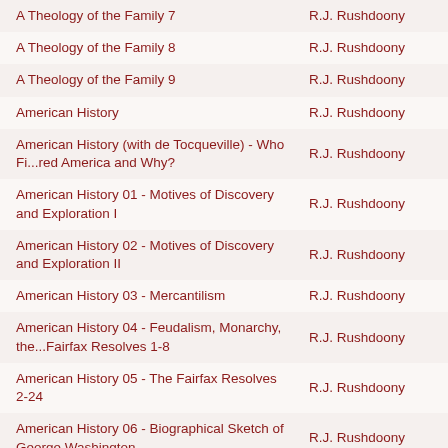| Title | Author |
| --- | --- |
| A Theology of the Family 7 | R.J. Rushdoony |
| A Theology of the Family 8 | R.J. Rushdoony |
| A Theology of the Family 9 | R.J. Rushdoony |
| American History | R.J. Rushdoony |
| American History (with de Tocqueville) - Who Fi...red America and Why? | R.J. Rushdoony |
| American History 01 - Motives of Discovery and Exploration I | R.J. Rushdoony |
| American History 02 - Motives of Discovery and Exploration II | R.J. Rushdoony |
| American History 03 - Mercantilism | R.J. Rushdoony |
| American History 04 - Feudalism, Monarchy, the...Fairfax Resolves 1-8 | R.J. Rushdoony |
| American History 05 - The Fairfax Resolves 2-24 | R.J. Rushdoony |
| American History 06 - Biographical Sketch of George Washington | R.J. Rushdoony |
| American History 07 - The Declaration of Indepe...les of Confederation | R.J. Rushdoony |
| American History 08 - The U.S. Constitution I | R.J. Rushdoony |
| American History 09 - The U.S. Constitution II | R.J. Rushdoony |